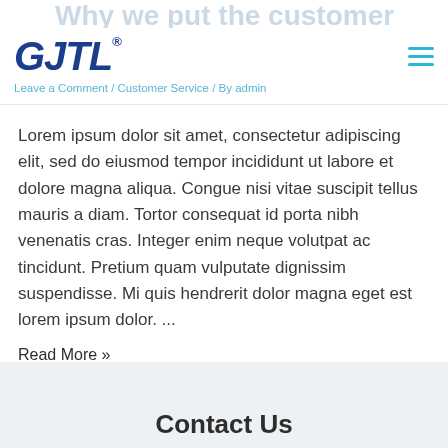Why we put the customer first
GJTL® — Leave a Comment / Customer Service / By admin
Lorem ipsum dolor sit amet, consectetur adipiscing elit, sed do eiusmod tempor incididunt ut labore et dolore magna aliqua. Congue nisi vitae suscipit tellus mauris a diam. Tortor consequat id porta nibh venenatis cras. Integer enim neque volutpat ac tincidunt. Pretium quam vulputate dignissim suspendisse. Mi quis hendrerit dolor magna eget est lorem ipsum dolor. ...
Read More »
Contact Us